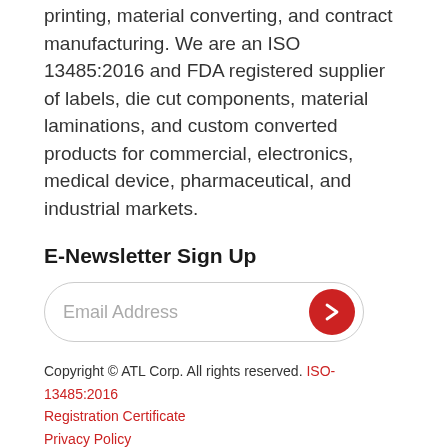printing, material converting, and contract manufacturing. We are an ISO 13485:2016 and FDA registered supplier of labels, die cut components, material laminations, and custom converted products for commercial, electronics, medical device, pharmaceutical, and industrial markets.
E-Newsletter Sign Up
Email Address [input field with submit button]
Copyright © ATL Corp. All rights reserved. ISO-13485:2016 Registration Certificate Privacy Policy
Explore